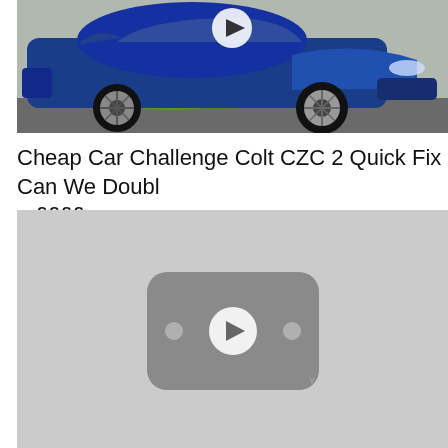[Figure (photo): Blue Mitsubishi Colt CZC convertible car parked on gravel with a play button overlay, viewed from front-left angle. White alloy wheels visible, green weeds on ground.]
Cheap Car Challenge Colt CZC 2 Quick Fix Can We Double ££££
[Figure (screenshot): Gray YouTube video thumbnail placeholder with rounded rectangle icon and play button in center, two dots on either side of the play button.]